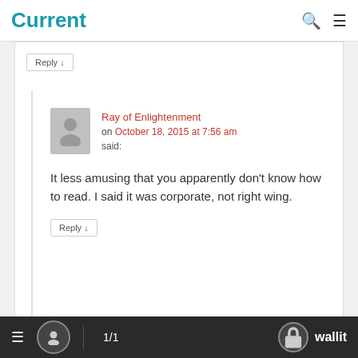Current
Reply ↓
Ray of Enlightenment on October 18, 2015 at 7:56 am said:
It less amusing that you apparently don't know how to read. I said it was corporate, not right wing.
Reply ↓
≡  1/1  wallit